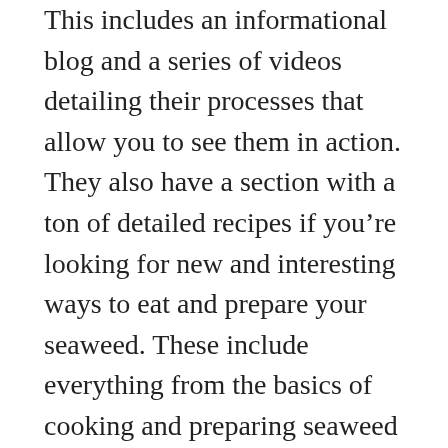This includes an informational blog and a series of videos detailing their processes that allow you to see them in action. They also have a section with a ton of detailed recipes if you're looking for new and interesting ways to eat and prepare your seaweed. These include everything from the basics of cooking and preparing seaweed to delicious salads and pasta dishes.